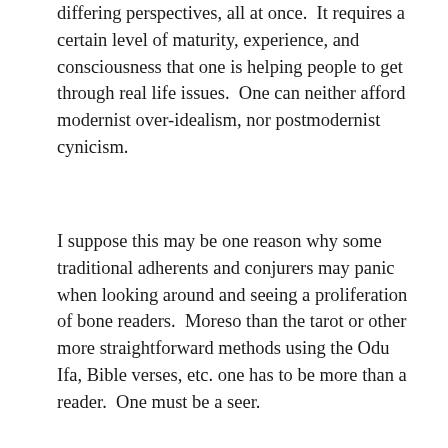differing perspectives, all at once.  It requires a certain level of maturity, experience, and consciousness that one is helping people to get through real life issues.  One can neither afford modernist over-idealism, nor postmodernist cynicism.
I suppose this may be one reason why some traditional adherents and conjurers may panic when looking around and seeing a proliferation of bone readers.  Moreso than the tarot or other more straightforward methods using the Odu Ifa, Bible verses, etc. one has to be more than a reader.  One must be a seer.
Seeing what has become of the Nordic Runes, I share some of their concerns.  I will stop short of calling someone who is sincere and has the technique a fraud, but I will express concern with any traditional or culture/ethnicity heavy method being taken too far away from its origins.  In order to truly understand the Nordic Runes, it definitely does help to have some Nordic ancestry, as well as Nordic traditions